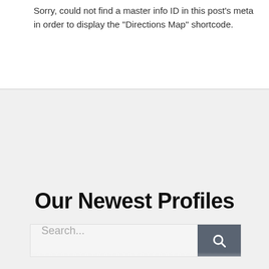Sorry, could not find a master info ID in this post's meta in order to display the "Directions Map" shortcode.
Our Newest Profiles
Search...
ReikiHealingDistance.com
Reiki therapist
Miami, Florida
Just Try Our Distance Reiki Healing Session